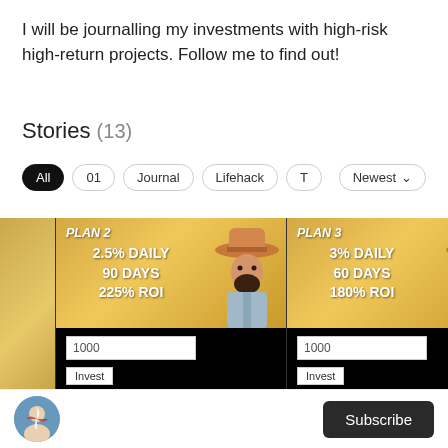I will be journalling my investments with high-risk high-return projects. Follow me to find out!
Stories (13)
All | 01 | Journal | Lifehack | T | Newest
[Figure (screenshot): Investment plan cards showing PLAN 2 (2.5% DAILY, 90 DAYS, 225% ROI, min. 40 BUSD max. 8,000 BUSD), PLAN 3 (3% DAILY, 60 DAYS, 180% ROI, min. 50 BUSD max. 10,000 BUSD), and a partially visible third plan. Each card has an input field showing 1000 and an Invest button.]
Subscribe